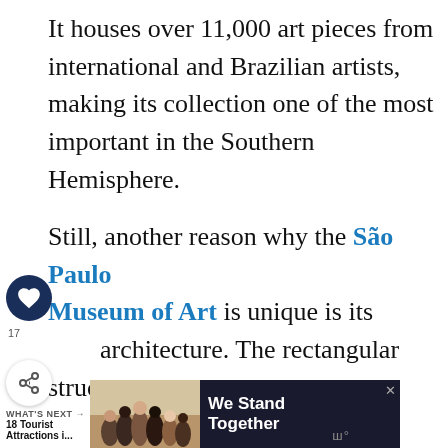It houses over 11,000 art pieces from international and Brazilian artists, making its collection one of the most important in the Southern Hemisphere.
Still, another reason why the São Paulo Museum of Art is unique is its architecture. The rectangular structure resembling a suspended container is supported by red columns that perfectly contrast with the concrete's roughness.
[Figure (screenshot): Web UI overlay elements: heart/save icon (dark navy circle), superscript 17 footnote marker, share icon (circle with share symbol), and a 'What's Next' navigation bar with thumbnail for '18 Tourist Attractions i...']
[Figure (screenshot): Advertisement banner: 'We Stand Together' with group photo of people with arms around each other, dark background, and a logo mark in bottom right.]